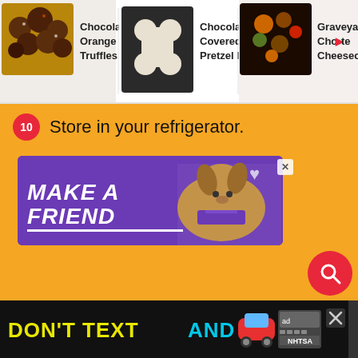[Figure (screenshot): Top navigation bar showing recipe thumbnails: Chocolate Orange Truffles (round chocolate balls), Chocolate Covered Pretzel Bone... (bone-shaped pretzels), Graveyard Cho...late Cheesecak... (Halloween themed cheesecake)]
10  Store in your refrigerator.
[Figure (infographic): Purple advertisement banner reading MAKE A FRIEND with a dog image and heart icons]
[Figure (infographic): Right sidebar floating action buttons: heart/like button showing 1.5K likes, share button]
[Figure (infographic): Red circular search button at bottom right]
[Figure (infographic): Bottom black advertisement banner: DON'T TEXT AND [drive] with car emoji and NHTSA ad label]